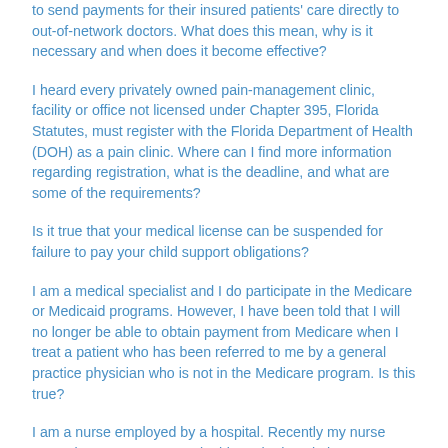to send payments for their insured patients' care directly to out-of-network doctors. What does this mean, why is it necessary and when does it become effective?
I heard every privately owned pain-management clinic, facility or office not licensed under Chapter 395, Florida Statutes, must register with the Florida Department of Health (DOH) as a pain clinic. Where can I find more information regarding registration, what is the deadline, and what are some of the requirements?
Is it true that your medical license can be suspended for failure to pay your child support obligations?
I am a medical specialist and I do participate in the Medicare or Medicaid programs. However, I have been told that I will no longer be able to obtain payment from Medicare when I treat a patient who has been referred to me by a general practice physician who is not in the Medicare program. Is this true?
I am a nurse employed by a hospital. Recently my nurse supervisor came to me and told me the hospital was requiring several nurses to "voluntarily" submit to urinalysis drug tests because the PYXIS (drug dispensing) machine disclosed a number of discrepancies. Should I agree to voluntarily submit to a urinalysis drug test?